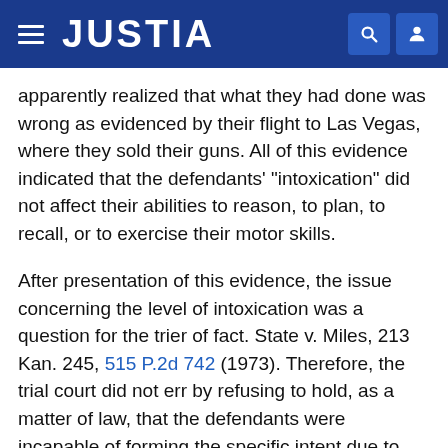JUSTIA
apparently realized that what they had done was wrong as evidenced by their flight to Las Vegas, where they sold their guns. All of this evidence indicated that the defendants' "intoxication" did not affect their abilities to reason, to plan, to recall, or to exercise their motor skills.
After presentation of this evidence, the issue concerning the level of intoxication was a question for the trier of fact. State v. Miles, 213 Kan. 245, 515 P.2d 742 (1973). Therefore, the trial court did not err by refusing to hold, as a matter of law, that the defendants were incapable of forming the specific intent due to their intoxication. The motions for judgment of acquittal were properly denied.
The jury, after being properly instructed (PIK Crim.2d 54.12) on the issue of intoxication, resolved the issue